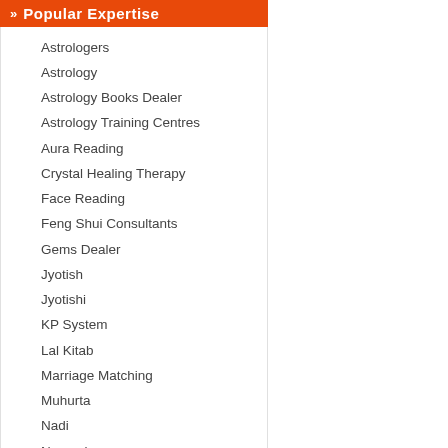Popular Expertise
Astrologers
Astrology
Astrology Books Dealer
Astrology Training Centres
Aura Reading
Crystal Healing Therapy
Face Reading
Feng Shui Consultants
Gems Dealer
Jyotish
Jyotishi
KP System
Lal Kitab
Marriage Matching
Muhurta
Nadi
Nameology
Numerology
Palmistry
Pandits For Puja
Ramal
Reiki